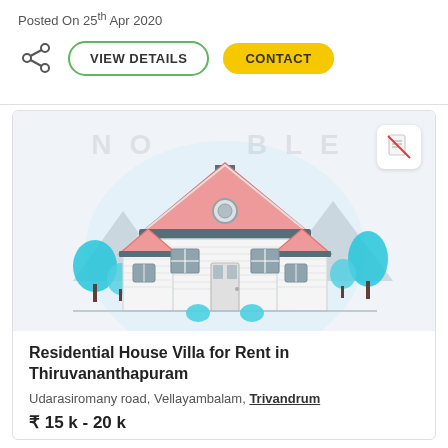Posted On 25th Apr 2020
[Figure (illustration): Share icon, VIEW DETAILS button with green border, CONTACT button with yellow background]
[Figure (illustration): Illustration of a residential house/villa with orange roof, white walls, teal trees, light blue circular background, watermark text 'NO...BLE' and a no-document badge icon in top right]
Residential House Villa for Rent in Thiruvananthapuram
Udarasiromany road, Vellayambalam, Trivandrum
₹ 15 k - 20 k